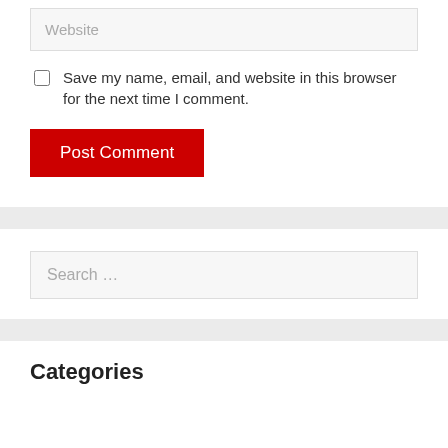Website
Save my name, email, and website in this browser for the next time I comment.
Post Comment
Search …
Categories